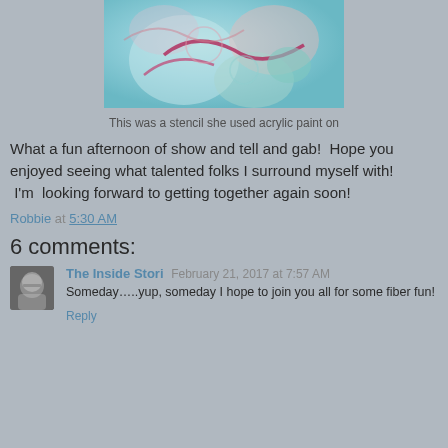[Figure (photo): Close-up of a colorful stencil artwork with acrylic paint — blues, pinks, and teals with curving shapes and a red curved line.]
This was a stencil she used acrylic paint on
What a fun afternoon of show and tell and gab!  Hope you enjoyed seeing what talented folks I surround myself with!  I'm  looking forward to getting together again soon!
Robbie at 5:30 AM
6 comments:
[Figure (photo): Small avatar photo of a person wearing glasses.]
The Inside Stori  February 21, 2017 at 7:57 AM
Someday…..yup, someday I hope to join you all for some fiber fun!
Reply